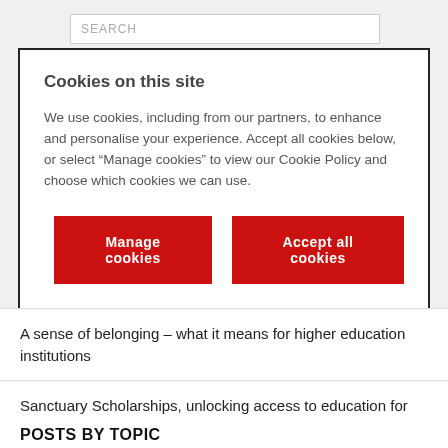[Figure (screenshot): Search bar with placeholder text SEARCH]
Cookies on this site
We use cookies, including from our partners, to enhance and personalise your experience. Accept all cookies below, or select “Manage cookies” to view our Cookie Policy and choose which cookies we can use.
Manage cookies
Accept all cookies
A sense of belonging – what it means for higher education institutions
Sanctuary Scholarships, unlocking access to education for refugee students
Championing Diversity and Inclusion in King’s Business School
POSTS BY TOPIC